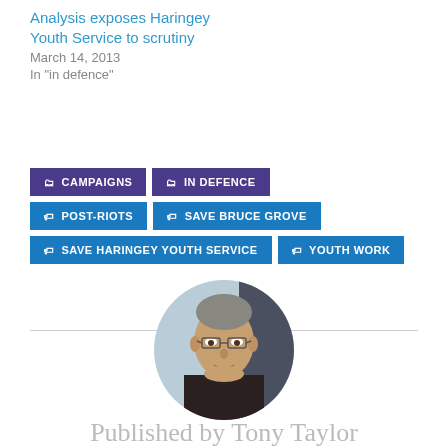Analysis exposes Haringey Youth Service to scrutiny
March 14, 2013
In "in defence"
CAMPAIGNS
IN DEFENCE
POST-RIOTS
SAVE BRUCE GROVE
SAVE HARINGEY YOUTH SERVICE
YOUTH WORK
[Figure (photo): Circular avatar photo of Tony Taylor, a man wearing glasses]
Published by Tony Taylor